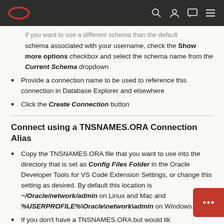Oracle header navigation
If you want to use a different schema than the default schema associated with your username, check the Show more options checkbox and select the schema name from the Current Schema dropdown
Provide a connection name to be used to reference this connection in Database Explorer and elsewhere
Click the Create Connection button
Connect using a TNSNAMES.ORA Connection Alias
Copy the TNSNAMES.ORA file that you want to use into the directory that is set as Config Files Folder in the Oracle Developer Tools for VS Code Extension Settings, or change this setting as desired. By default this location is ~/Oracle/network/admin on Linux and Mac and %USERPROFILE%\Oracle\network\admin on Windows.
If you don't have a TNSNAMES.ORA but would lik